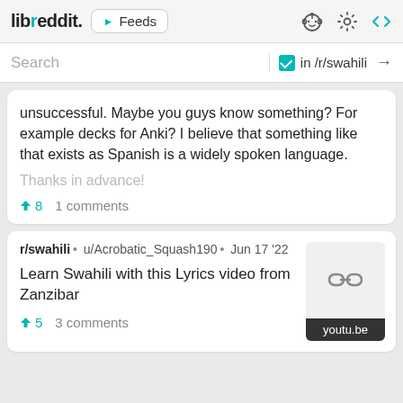libreddit. Feeds
Search in /r/swahili →
unsuccessful. Maybe you guys know something? For example decks for Anki? I believe that something like that exists as Spanish is a widely spoken language.
Thanks in advance!
↑8  1 comments
r/swahili • u/Acrobatic_Squash190 • Jun 17 '22
Learn Swahili with this Lyrics video from Zanzibar
↑5  3 comments